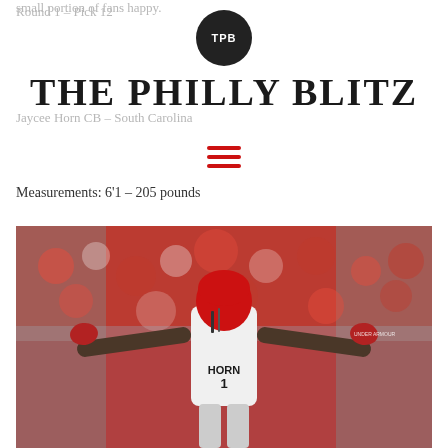small portion of fans happy.
[Figure (logo): TPB circular logo with dark background]
Round 1 – Pick 12
THE PHILLY BLITZ
Jaycee Horn CB – South Carolina
[Figure (other): Hamburger menu icon with three red horizontal lines]
Measurements: 6'1 – 205 pounds
[Figure (photo): Football player wearing HORN #1 jersey with arms outstretched, red helmet, crowd in background]